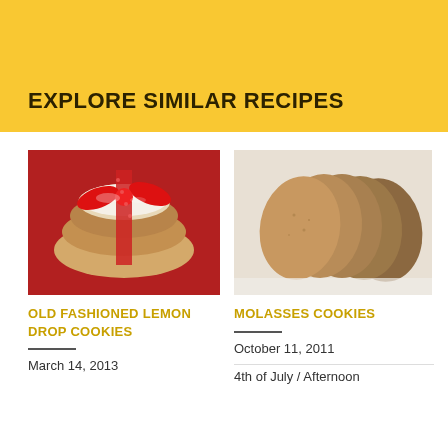EXPLORE SIMILAR RECIPES
[Figure (photo): Stack of powdered sugar cookies tied with a red ribbon on a red background]
OLD FASHIONED LEMON DROP COOKIES
March 14, 2013
[Figure (photo): Five round molasses cookies leaning against each other on a white surface]
MOLASSES COOKIES
October 11, 2011
4th of July / Afternoon